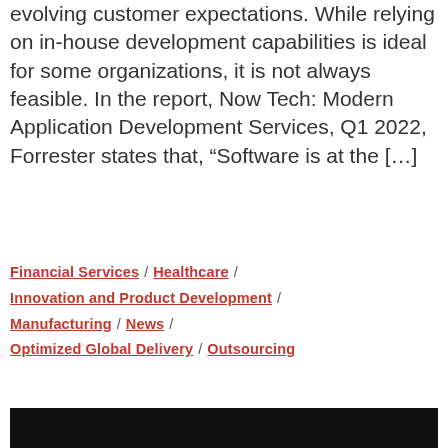evolving customer expectations. While relying on in-house development capabilities is ideal for some organizations, it is not always feasible. In the report, Now Tech: Modern Application Development Services, Q1 2022, Forrester states that, “Software is at the […]
Financial Services / Healthcare /
Innovation and Product Development /
Manufacturing / News /
Optimized Global Delivery / Outsourcing
[Figure (photo): Dark image strip at the bottom of the page, mostly black]